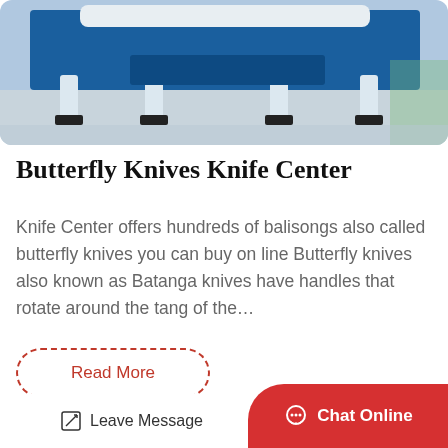[Figure (photo): Industrial blue machinery with white legs/supports on a factory floor]
Butterfly Knives Knife Center
Knife Center offers hundreds of balisongs also called butterfly knives you can buy on line Butterfly knives also known as Batanga knives have handles that rotate around the tang of the…
Read More
[Figure (photo): Industrial equipment or machinery, partial view of lower section]
Leave Message
Chat Online